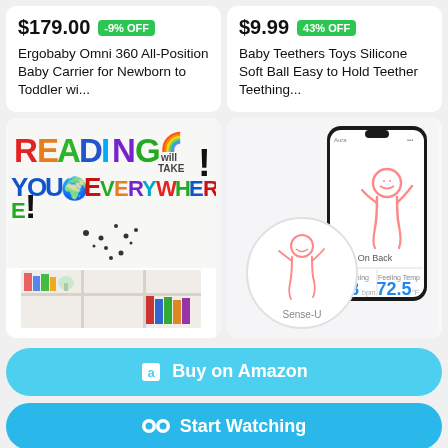$179.00 -9% OFF
Ergobaby Omni 360 All-Position Baby Carrier for Newborn to Toddler wi...
$9.99 43% OFF
Baby Teethers Toys Silicone Soft Ball Easy to Hold Teether Teething...
[Figure (photo): Wall decal reading sticker: colorful 'READING will TAKE YOU EVERYWHERE!' text on wall above white bookshelf with books]
[Figure (photo): Sense-U baby monitor device (round white clip) and smartphone app showing baby position 'On Back', Breathing 28, Feeling Temp 72.5]
Buy on Amazon
Start Watching